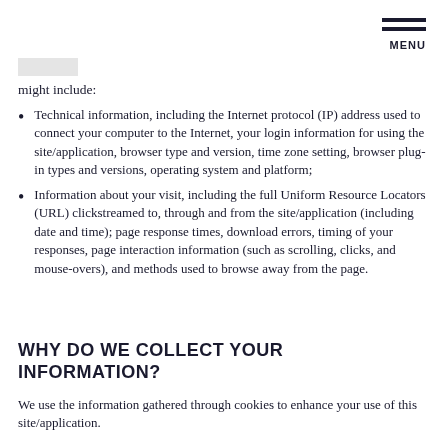MENU
might include:
Technical information, including the Internet protocol (IP) address used to connect your computer to the Internet, your login information for using the site/application, browser type and version, time zone setting, browser plug-in types and versions, operating system and platform;
Information about your visit, including the full Uniform Resource Locators (URL) clickstreamed to, through and from the site/application (including date and time); page response times, download errors, timing of your responses, page interaction information (such as scrolling, clicks, and mouse-overs), and methods used to browse away from the page.
WHY DO WE COLLECT YOUR INFORMATION?
We use the information gathered through cookies to enhance your use of this site/application.